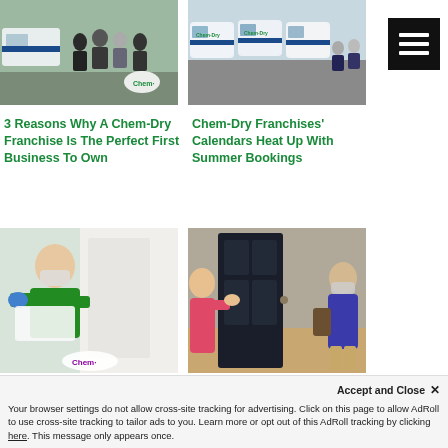[Figure (photo): Chem-Dry franchise team members standing in front of a van outdoors]
[Figure (photo): Row of Chem-Dry branded vans parked in a lot with staff standing nearby]
[Figure (other): Hamburger menu icon (three horizontal white lines on black background)]
3 Reasons Why A Chem-Dry Franchise Is The Perfect First Business To Own
Chem-Dry Franchises’ Calendars Heat Up With Summer Bookings
[Figure (photo): Chem-Dry technician wearing a mask and gloves working on upholstery cleaning indoors, Chem-Dry logo visible]
[Figure (photo): Woman in pink top at front door speaking with Chem-Dry technician wearing mask and holding a device]
Demand is Already High for Chem-Dry's Sanitization Service
Chem-Dry Continues to Adapt During Unpreceden...
Accept and Close ×
Your browser settings do not allow cross-site tracking for advertising. Click on this page to allow AdRoll to use cross-site tracking to tailor ads to you. Learn more or opt out of this AdRoll tracking by clicking here. This message only appears once.